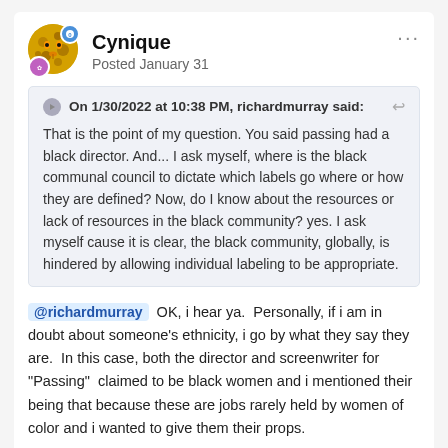Cynique — Posted January 31
On 1/30/2022 at 10:38 PM, richardmurray said:
That is the point of my question. You said passing had a black director. And... I ask myself, where is the black communal council to dictate which labels go where or how they are defined? Now, do I know about the resources or lack of resources in the black community? yes. I ask myself cause it is clear, the black community, globally, is hindered by allowing individual labeling to be appropriate.
@richardmurray OK, i hear ya. Personally, if i am in doubt about someone's ethnicity, i go by what they say they are. In this case, both the director and screenwriter for "Passing" claimed to be black women and i mentioned their being that because these are jobs rarely held by women of color and i wanted to give them their props.